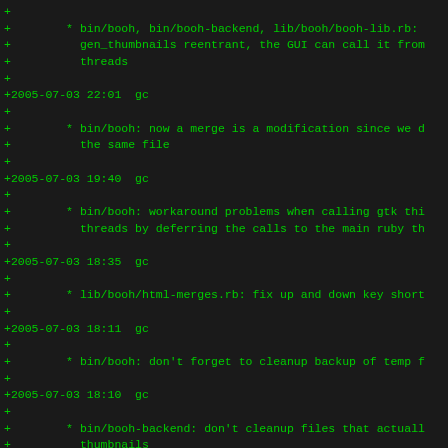ChangeLog diff output showing git/svn log entries for bin/booh and related files dated 2005-07-03